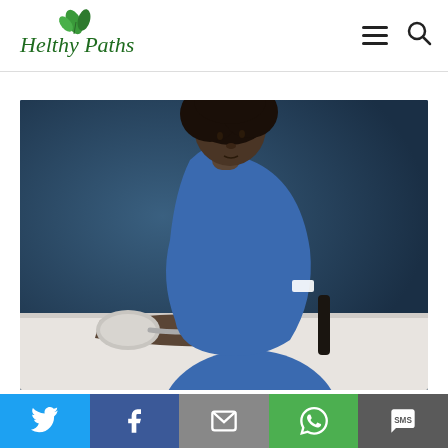[Figure (logo): Helthy Paths logo with green leaf illustration and green italic script text]
[Figure (photo): A Black woman in blue medical scrubs sitting at a white table, measuring her blood pressure with a cuff on her arm, against a dark blue background]
[Figure (infographic): Social sharing bar with Twitter, Facebook, Email, WhatsApp, and SMS buttons]